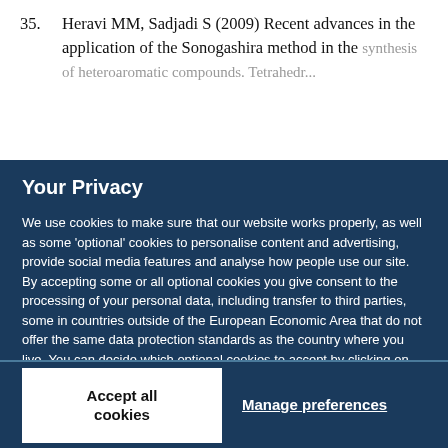35. Heravi MM, Sadjadi S (2009) Recent advances in the application of the Sonogashira method in the synthesis of heteroaromatic compounds. Tetrahedron...
Your Privacy
We use cookies to make sure that our website works properly, as well as some 'optional' cookies to personalise content and advertising, provide social media features and analyse how people use our site. By accepting some or all optional cookies you give consent to the processing of your personal data, including transfer to third parties, some in countries outside of the European Economic Area that do not offer the same data protection standards as the country where you live. You can decide which optional cookies to accept by clicking on 'Manage Settings', where you can also find more information about how your personal data is processed. Further information can be found in our privacy policy.
Accept all cookies
Manage preferences